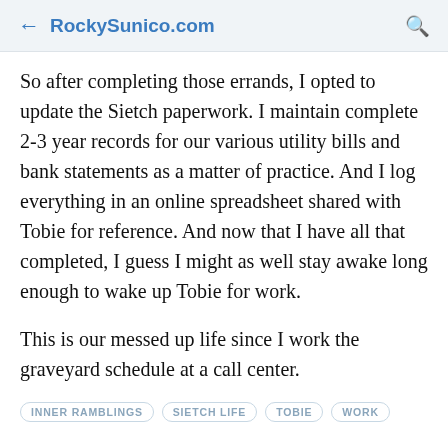← RockySunico.com 🔍
So after completing those errands, I opted to update the Sietch paperwork. I maintain complete 2-3 year records for our various utility bills and bank statements as a matter of practice. And I log everything in an online spreadsheet shared with Tobie for reference. And now that I have all that completed, I guess I might as well stay awake long enough to wake up Tobie for work.
This is our messed up life since I work the graveyard schedule at a call center.
INNER RAMBLINGS
SIETCH LIFE
TOBIE
WORK